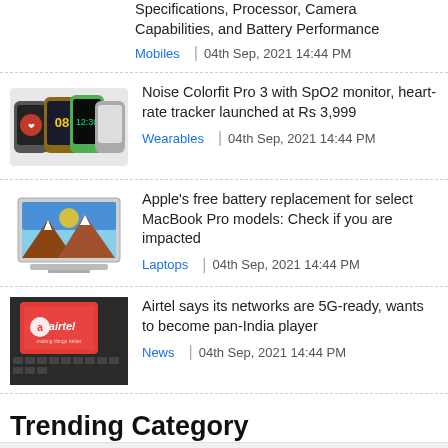Specifications, Processor, Camera Capabilities, and Battery Performance
Mobiles | 04th Sep, 2021 14:44 PM
[Figure (photo): Multiple smartwatches grouped together]
Noise Colorfit Pro 3 with SpO2 monitor, heart-rate tracker launched at Rs 3,999
Wearables | 04th Sep, 2021 14:44 PM
[Figure (photo): MacBook Pro laptop with mountain wallpaper]
Apple's free battery replacement for select MacBook Pro models: Check if you are impacted
Laptops | 04th Sep, 2021 14:44 PM
[Figure (photo): Airtel red branded card/phone on keyboard]
Airtel says its networks are 5G-ready, wants to become pan-India player
News | 04th Sep, 2021 14:44 PM
Trending Category